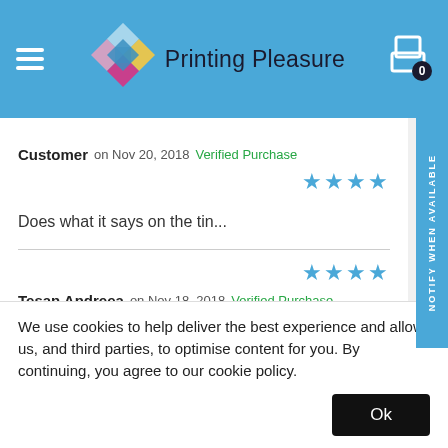[Figure (logo): Printing Pleasure logo with colorful diamond shapes and text]
Customer on Nov 20, 2018  Verified Purchase  ★★★★
Does what it says on the tin...
★★★★
Tesan Andreea on Nov 18, 2018  Verified Purchase
We use cookies to help deliver the best experience and allow us, and third parties, to optimise content for you. By continuing, you agree to our cookie policy.